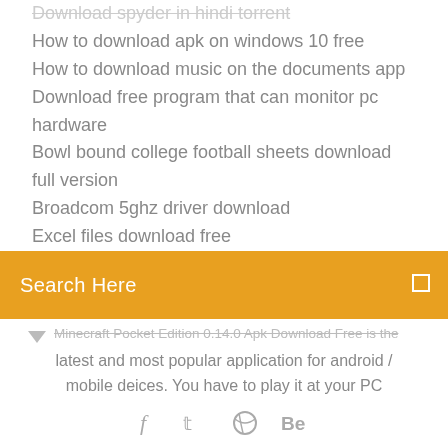Download spyder in hindi torrent
How to download apk on windows 10 free
How to download music on the documents app
Download free program that can monitor pc hardware
Bowl bound college football sheets download full version
Broadcom 5ghz driver download
Excel files download free
Search Here
Minecraft Pocket Edition 0.14.0 Apk Download Free is the latest and most popular application for android / mobile deices. You have to play it at your PC
Download Minecraft v1.14.2.51 Beta APK Mod free here and upgrade your Minecraft – upgrade the fastest growing Arcade game on the market.